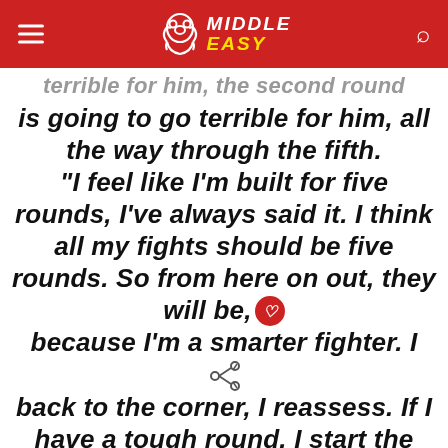Middle Easy
terrible for him, the second round is going to go terrible for him, all the way through the fifth. "I feel like I'm built for five rounds, I've always said it. I think all my fights should be five rounds. So from here on out, they will be, because I'm a smarter fighter. I back to the corner, I reassess. If I have a tough round, I start the next